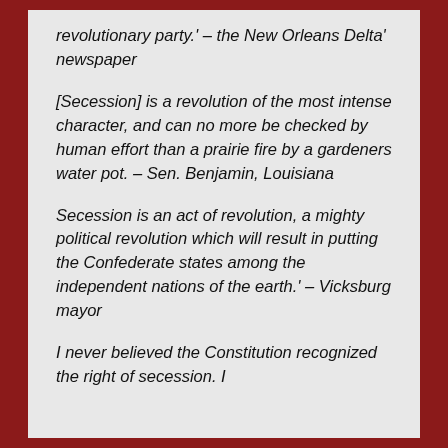revolutionary party.' – the New Orleans Delta' newspaper
[Secession] is a revolution of the most intense character, and can no more be checked by human effort than a prairie fire by a gardeners water pot. – Sen. Benjamin, Louisiana
Secession is an act of revolution, a mighty political revolution which will result in putting the Confederate states among the independent nations of the earth.' – Vicksburg mayor
I never believed the Constitution recognized the right of secession. I